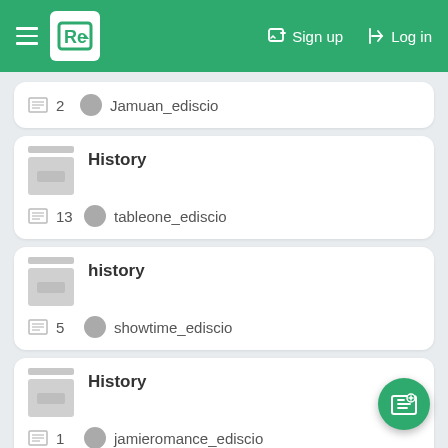Re — Sign up   Log in
2   Jamuan_ediscio
History   13   tableone_ediscio
history   5   showtime_ediscio
History   1   jamieromance_ediscio
History - Picture Identification (partial)